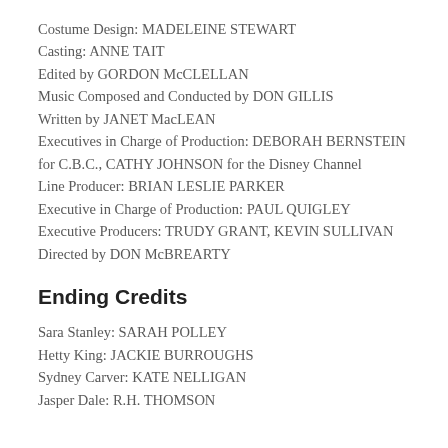Costume Design: MADELEINE STEWART
Casting: ANNE TAIT
Edited by GORDON McCLELLAN
Music Composed and Conducted by DON GILLIS
Written by JANET MacLEAN
Executives in Charge of Production: DEBORAH BERNSTEIN for C.B.C., CATHY JOHNSON for the Disney Channel
Line Producer: BRIAN LESLIE PARKER
Executive in Charge of Production: PAUL QUIGLEY
Executive Producers: TRUDY GRANT, KEVIN SULLIVAN
Directed by DON McBREARTY
Ending Credits
Sara Stanley: SARAH POLLEY
Hetty King: JACKIE BURROUGHS
Sydney Carver: KATE NELLIGAN
Jasper Dale: R.H. THOMSON